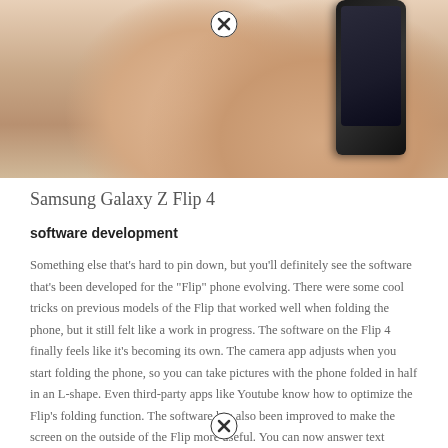[Figure (photo): A hand holding a Samsung Galaxy Z Flip 4 smartphone, showing the device from above. The phone is dark/black. A close/X button overlay appears at the top center and bottom center of the image.]
Samsung Galaxy Z Flip 4
software development
Something else that's hard to pin down, but you'll definitely see the software that's been developed for the "Flip" phone evolving. There were some cool tricks on previous models of the Flip that worked well when folding the phone, but it still felt like a work in progress. The software on the Flip 4 finally feels like it's becoming its own. The camera app adjusts when you start folding the phone, so you can take pictures with the phone folded in half in an L-shape. Even third-party apps like Youtube know how to optimize the Flip's folding function. The software has also been improved to make the screen on the outside of the Flip more useful. You can now answer text messages and make calls without ever opening the phone.